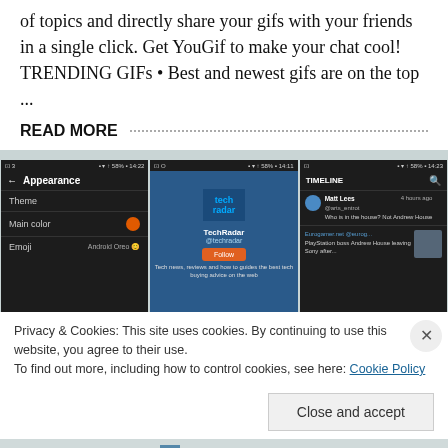of topics and directly share your gifs with your friends in a single click. Get YouGif to make your chat cool! TRENDING GIFs • Best and newest gifs are on the top ...
READ MORE
[Figure (screenshot): Three mobile app screenshots showing: 1) An Appearance settings screen with dark theme, main color orange dot, and emoji option. 2) TechRadar Twitter profile page with blue background, logo, follow button. 3) A Timeline feed with posts from Matt Lees and Eurogamer.]
Privacy & Cookies: This site uses cookies. By continuing to use this website, you agree to their use.
To find out more, including how to control cookies, see here: Cookie Policy
Close and accept
Follow